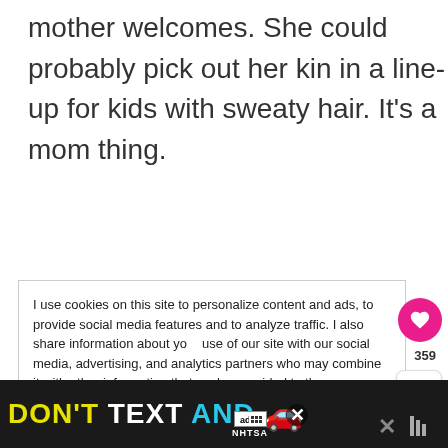mother welcomes. She could probably pick out her kin in a line-up for kids with sweaty hair. It's a mom thing.
I use cookies on this site to personalize content and ads, to provide social media features and to analyze traffic. I also share information about your use of our site with our social media, advertising, and analytics partners who may combine it with other information that you've provided to the that they've collected from your use of their services. Privacy & Cookie Policy
[Figure (screenshot): Cookie consent banner with heart button (359 saves) and share button overlaid on right side]
[Figure (photo): Advertisement banner at bottom: DON'T TEXT AND DRIVE with car emoji, NHTSA ad badge, close button, and weather icon]